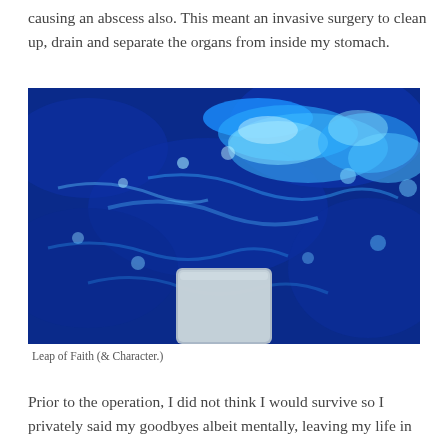causing an abscess also. This meant an invasive surgery to clean up, drain and separate the organs from inside my stomach.
[Figure (photo): Aerial view of a swimming pool with vivid blue water showing light refraction patterns, and a diving board visible at the bottom center of the image.]
Leap of Faith (& Character.)
Prior to the operation, I did not think I would survive so I privately said my goodbyes albeit mentally, leaving my life in